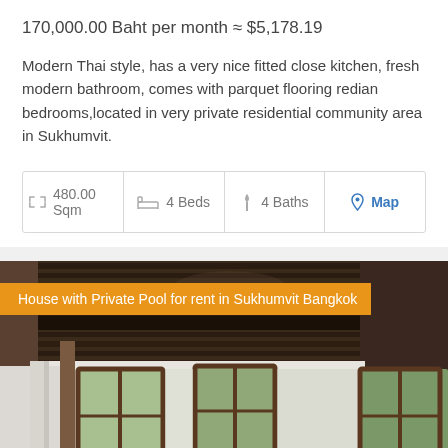170,000.00 Baht per month ≈ $5,178.19
Modern Thai style, has a very nice fitted close kitchen, fresh modern bathroom, comes with parquet flooring redian bedrooms,located in very private residential community area in Sukhumvit.
| 480.00 Sqm | 4 Beds | 4 Baths | Map |
| --- | --- | --- | --- |
[Figure (photo): Interior photo of a modern Thai-style house room with dark wood ceiling beams, white walls, tall narrow brown-framed windows, and natural light coming through. Overlay label reads: House with Private Pool for rent in Sukhumvit Bangkok]